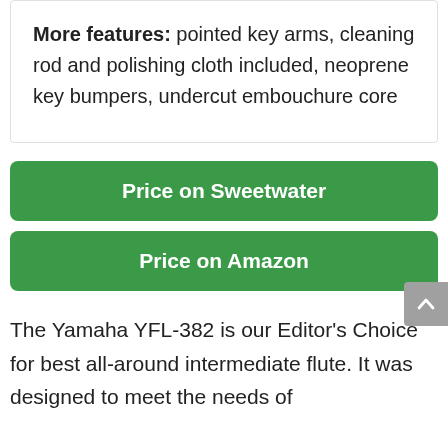More features: pointed key arms, cleaning rod and polishing cloth included, neoprene key bumpers, undercut embouchure core
Price on Sweetwater
Price on Amazon
The Yamaha YFL-382 is our Editor's Choice for best all-around intermediate flute. It was designed to meet the needs of